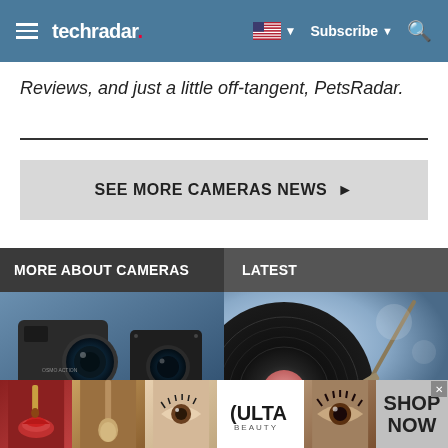techradar | Subscribe | Search
Reviews, and just a little off-tangent, PetsRadar.
SEE MORE CAMERAS NEWS ▶
MORE ABOUT CAMERAS
LATEST
[Figure (photo): Two DJI Osmo Action cameras against a dark blue background]
[Figure (photo): Close-up of a vinyl record player needle on a record with bokeh background]
[Figure (photo): Ulta Beauty advertisement banner with makeup images and SHOP NOW text]